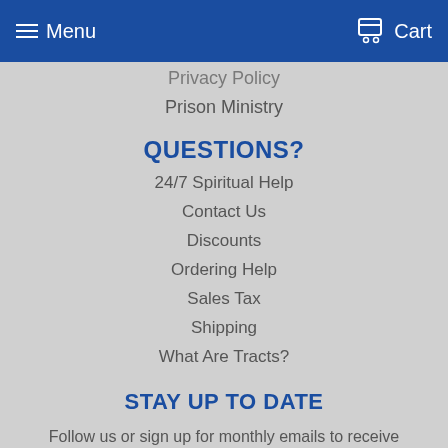Menu   Cart
Privacy Policy
Prison Ministry
QUESTIONS?
24/7 Spiritual Help
Contact Us
Discounts
Ordering Help
Sales Tax
Shipping
What Are Tracts?
STAY UP TO DATE
Follow us or sign up for monthly emails to receive special offers.